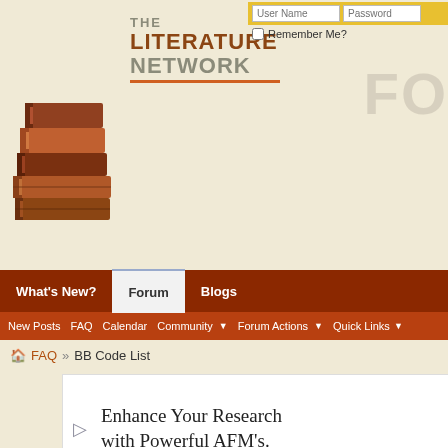[Figure (screenshot): The Literature Network Forums website header with stack of books logo and site title]
User Name   Password   Remember Me?
What's New?  Forum  Blogs
New Posts  FAQ  Calendar  Community  Forum Actions  Quick Links
FAQ  BB Code List
[Figure (screenshot): Advertisement: Enhance Your Research with Powerful AFM's.]
Welcome to the Literature Network Forums forums. You are currently viewing our boards as a guest which gives you limited access our other features. By joining our free community you will have a privately with other members (PM), respond to polls, upload content and. Registration is fast, simple and absolutely free so please, join our comm If you have any problems with the registration process or your account l